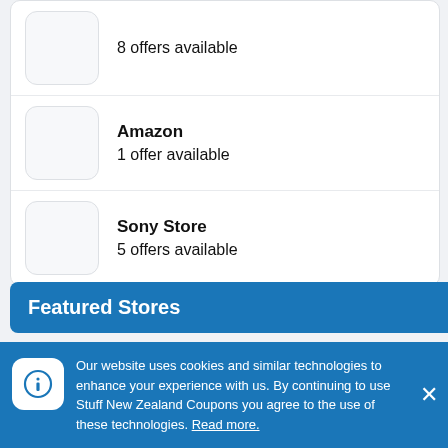8 offers available
Amazon
1 offer available
Sony Store
5 offers available
Featured Stores
[Figure (screenshot): Partial store logo box for a featured store]
Our website uses cookies and similar technologies to enhance your experience with us. By continuing to use Stuff New Zealand Coupons you agree to the use of these technologies. Read more.